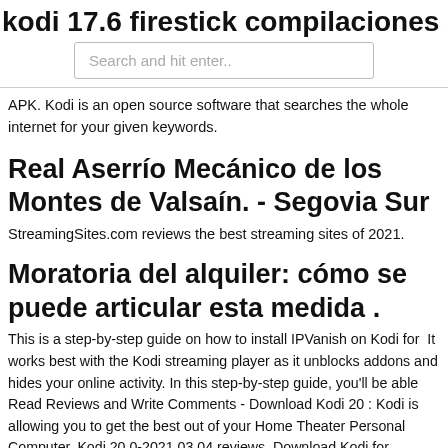kodi 17.6 firestick compilaciones 202
Search and hit enter..
APK. Kodi is an open source software that searches the whole internet for your given keywords.
Real Aserrío Mecánico de los Montes de Valsaín. - Segovia Sur
StreamingSites.com reviews the best streaming sites of 2021.
Moratoria del alquiler: cómo se puede articular esta medida .
This is a step-by-step guide on how to install IPVanish on Kodi for  It works best with the Kodi streaming player as it unblocks addons and hides your online activity. In this step-by-step guide, you'll be able Read Reviews and Write Comments - Download Kodi 20 : Kodi is allowing you to get the best out of your Home Theater Personal Computer. Kodi 20.0-2021.03.04 reviews. Download Kodi for Windows PC from FileHorse.